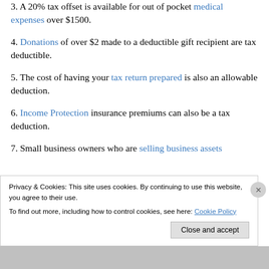3. A 20% tax offset is available for out of pocket medical expenses over $1500.
4. Donations of over $2 made to a deductible gift recipient are tax deductible.
5. The cost of having your tax return prepared is also an allowable deduction.
6. Income Protection insurance premiums can also be a tax deduction.
7. Small business owners who are selling business assets
Privacy & Cookies: This site uses cookies. By continuing to use this website, you agree to their use. To find out more, including how to control cookies, see here: Cookie Policy